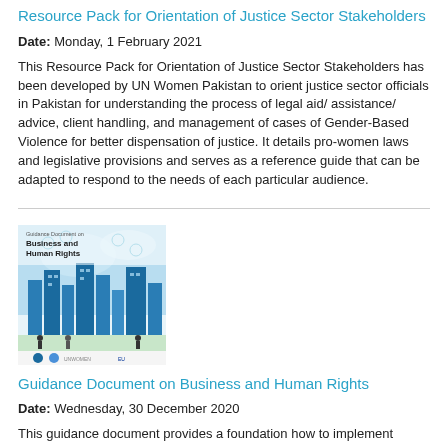Resource Pack for Orientation of Justice Sector Stakeholders
Date: Monday, 1 February 2021
This Resource Pack for Orientation of Justice Sector Stakeholders has been developed by UN Women Pakistan to orient justice sector officials in Pakistan for understanding the process of legal aid/ assistance/ advice, client handling, and management of cases of Gender-Based Violence for better dispensation of justice. It details pro-women laws and legislative provisions and serves as a reference guide that can be adapted to respond to the needs of each particular audience.
[Figure (illustration): Book cover image of 'Guidance Document on Business and Human Rights' with a blue city skyline and technology icons, published by UN Women and EU.]
Guidance Document on Business and Human Rights
Date: Wednesday, 30 December 2020
This guidance document provides a foundation how to implement human rights principles in the Philippine business setting. Premised